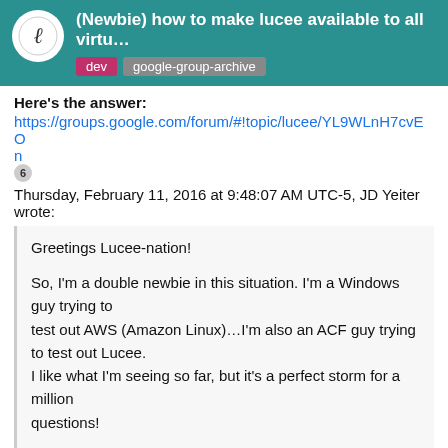(Newbie) how to make lucee available to all virtu…
Here's the answer:
https://groups.google.com/forum/#!topic/lucee/YL9WLnH7cvEOn
6 Thursday, February 11, 2016 at 9:48:07 AM UTC-5, JD Yeiter wrote:
Greetings Lucee-nation!

So, I'm a double newbie in this situation. I'm a Windows guy trying to
test out AWS (Amazon Linux)…I'm also an ACF guy trying to test out Lucee.
I like what I'm seeing so far, but it's a perfect storm for a million
questions!

I've installed Lucee 4.5.2.018 using the Linux(64b) installer with Tomcat
and mod_cfml on Amazon Linux…no errors. I've been able to hook it up to
Amazon RDS. If I place my CFM files in the Lucee default